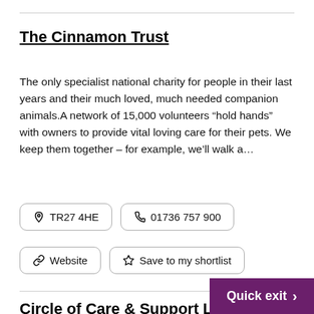The Cinnamon Trust
The only specialist national charity for people in their last years and their much loved, much needed companion animals.A network of 15,000 volunteers “hold hands” with owners to provide vital loving care for their pets. We keep them together – for example, we’ll walk a…
TR27 4HE
01736 757 900
Website
Save to my shortlist
Circle of Care & Support Li...
Circle of Care is a Home Care Service offering
Quick exit >